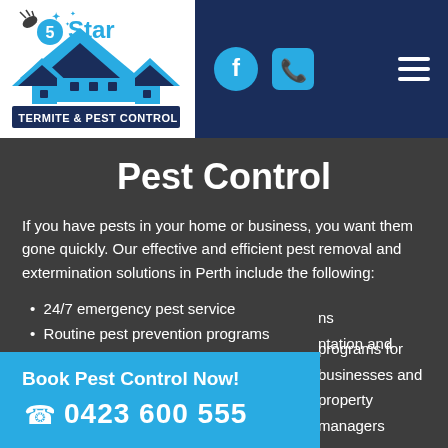[Figure (logo): 5 Star Termite & Pest Control logo with blue rooftop illustration and stylized text]
Pest Control
If you have pests in your home or business, you want them gone quickly. Our effective and efficient pest removal and extermination solutions in Perth include the following:
24/7 emergency pest service
Routine pest prevention programs
ns
ntation and
programs for businesses and property managers
Book Pest Control Now!
0423 600 555